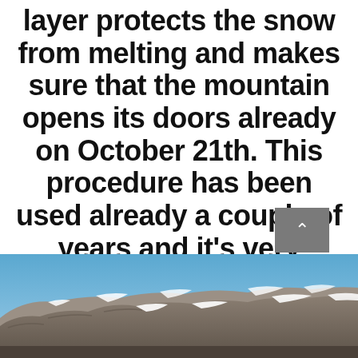layer protects the snow from melting and makes sure that the mountain opens its doors already on October 21th. This procedure has been used already a couple of years and it's very effective. #climatechange
June 15, 2017 / in Instagram / by admin
[Figure (photo): Mountain landscape with rocky terrain and snow patches under a blue sky]